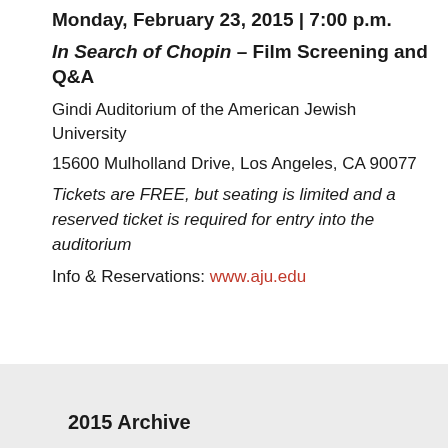Monday, February 23, 2015 | 7:00 p.m.
In Search of Chopin – Film Screening and Q&A
Gindi Auditorium of the American Jewish University
15600 Mulholland Drive, Los Angeles, CA 90077
Tickets are FREE, but seating is limited and a reserved ticket is required for entry into the auditorium
Info & Reservations: www.aju.edu
[Sources: press release, aju.edu]
2015 Archive